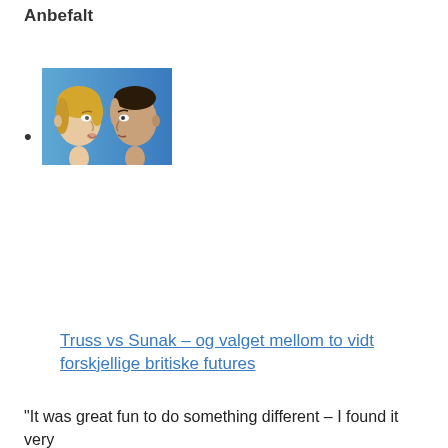Anbefalt
[Figure (photo): Two people facing each other in profile — a woman with blonde hair on the left and a man on the right, against a blue background. Thumbnail image for Truss vs Sunak article.]
Truss vs Sunak – og valget mellom to vidt forskjellige britiske futures
“It was great fun to do something different – I found it very